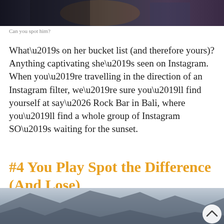[Figure (photo): Dark-toned photo at top of page, appears to show a crowded scene with warm/golden lighting]
Can you spot him?
What’s on her bucket list (and therefore yours)? Anything captivating she’s seen on Instagram. When you’re travelling in the direction of an Instagram filter, we’re sure you’ll find yourself at say… Rock Bar in Bali, where you’ll find a whole group of Instagram SO’s waiting for the sunset.
#4 You Play Spot the Difference (And Lose)
[Figure (photo): Bottom portion of page showing misty mountain landscape with grey-blue tones, with a circular scroll-up button in bottom right corner]